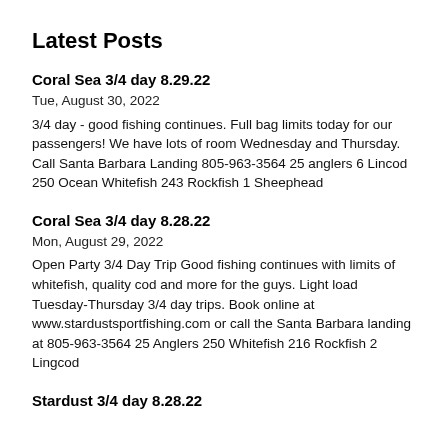Latest Posts
Coral Sea 3/4 day 8.29.22
Tue, August 30, 2022
3/4 day - good fishing continues. Full bag limits today for our passengers! We have lots of room Wednesday and Thursday. Call Santa Barbara Landing 805-963-3564 25 anglers 6 Lincod 250 Ocean Whitefish 243 Rockfish 1 Sheephead
Coral Sea 3/4 day 8.28.22
Mon, August 29, 2022
Open Party 3/4 Day Trip Good fishing continues with limits of whitefish, quality cod and more for the guys. Light load Tuesday-Thursday 3/4 day trips. Book online at www.stardustsportfishing.com or call the Santa Barbara landing at 805-963-3564 25 Anglers 250 Whitefish 216 Rockfish 2 Lingcod
Stardust 3/4 day 8.28.22